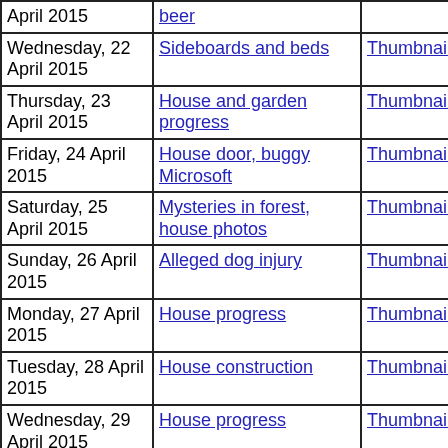| Date | Title | Thumbnails | Small photos | diary |
| --- | --- | --- | --- | --- |
| April 2015 | beer |  | photos |  |
| Wednesday, 22 April 2015 | Sideboards and beds | Thumbnails | Small photos | diary |
| Thursday, 23 April 2015 | House and garden progress | Thumbnails | Small photos | diary |
| Friday, 24 April 2015 | House door, buggy Microsoft | Thumbnails | Small photos | diary |
| Saturday, 25 April 2015 | Mysteries in forest, house photos | Thumbnails | Small photos | diary |
| Sunday, 26 April 2015 | Alleged dog injury | Thumbnails | Small photos | diary |
| Monday, 27 April 2015 | House progress | Thumbnails | Small photos | diary |
| Tuesday, 28 April 2015 | House construction | Thumbnails | Small photos | diary |
| Wednesday, 29 April 2015 | House progress | Thumbnails | Small photos | diary |
| Thursday | Zhivago and friend |  | Small |  |